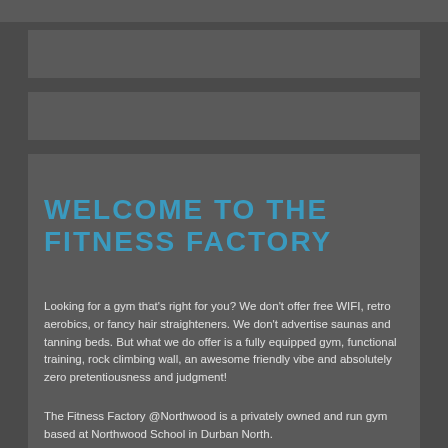WELCOME TO THE FITNESS FACTORY
Looking for a gym that’s right for you? We don't offer free WIFI, retro aerobics, or fancy hair straighteners. We don't advertise saunas and tanning beds. But what we do offer is a fully equipped gym, functional training, rock climbing wall, an awesome friendly vibe and absolutely zero pretentiousness and judgment!
The Fitness Factory @Northwood is a privately owned and run gym based at Northwood School in Durban North.